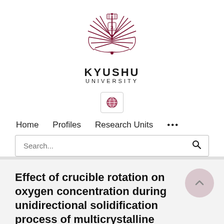[Figure (logo): Kyushu University logo: a dark red/maroon radiating feather/flame emblem with a central crest, above the text KYUSHU UNIVERSITY]
KYUSHU
UNIVERSITY
[Figure (other): Globe icon button in a small bordered box]
Home   Profiles   Research Units   ...
Search...
Effect of crucible rotation on oxygen concentration during unidirectional solidification process of multicrystalline silicon